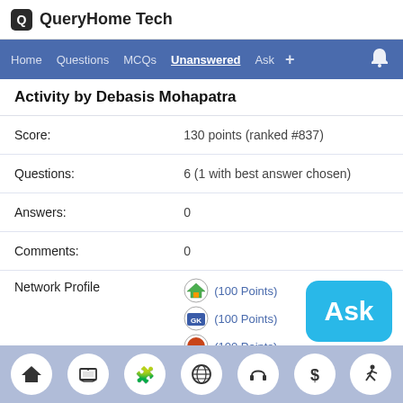QueryHome Tech
Home  Questions  MCQs  Unanswered  Ask  +
Activity by Debasis Mohapatra
| Field | Value |
| --- | --- |
| Score: | 130 points (ranked #837) |
| Questions: | 6 (1 with best answer chosen) |
| Answers: | 0 |
| Comments: | 0 |
| Network Profile | (100 Points) x5 |
| Voted on: | 0 questions, 2 answers |
| Gave out: | 2 up votes, 0 down votes |
[Figure (screenshot): Bottom navigation bar with home, laptop, puzzle, globe, headphones, dollar, runner icons]
[Figure (other): Ask button - blue rounded rectangle with white 'Ask' text]